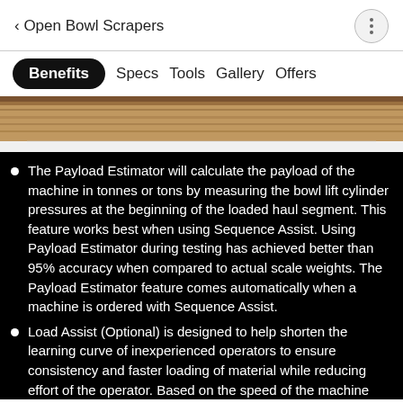Open Bowl Scrapers
Benefits  Specs  Tools  Gallery  Offers
[Figure (photo): Earthmoving machinery scraper working on a dirt/soil terrain, panoramic strip photo.]
The Payload Estimator will calculate the payload of the machine in tonnes or tons by measuring the bowl lift cylinder pressures at the beginning of the loaded haul segment. This feature works best when using Sequence Assist. Using Payload Estimator during testing has achieved better than 95% accuracy when compared to actual scale weights. The Payload Estimator feature comes automatically when a machine is ordered with Sequence Assist.
Load Assist (Optional) is designed to help shorten the learning curve of inexperienced operators to ensure consistency and faster loading of material while reducing effort of the operator. Based on the speed of the machine